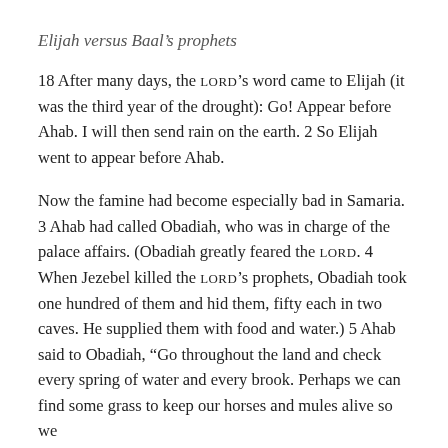Elijah versus Baal's prophets
18 After many days, the LORD's word came to Elijah (it was the third year of the drought): Go! Appear before Ahab. I will then send rain on the earth. 2 So Elijah went to appear before Ahab.
Now the famine had become especially bad in Samaria. 3 Ahab had called Obadiah, who was in charge of the palace affairs. (Obadiah greatly feared the LORD. 4 When Jezebel killed the LORD's prophets, Obadiah took one hundred of them and hid them, fifty each in two caves. He supplied them with food and water.) 5 Ahab said to Obadiah, “Go throughout the land and check every spring of water and every brook. Perhaps we can find some grass to keep our horses and mules alive so we